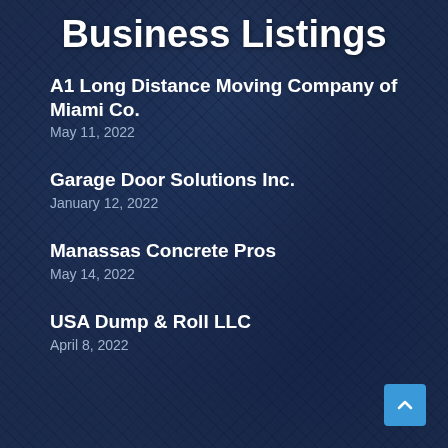Business Listings
A1 Long Distance Moving Company of Miami Co.
May 11, 2022
Garage Door Solutions Inc.
January 12, 2022
Manassas Concrete Pros
May 14, 2022
USA Dump & Roll LLC
April 8, 2022